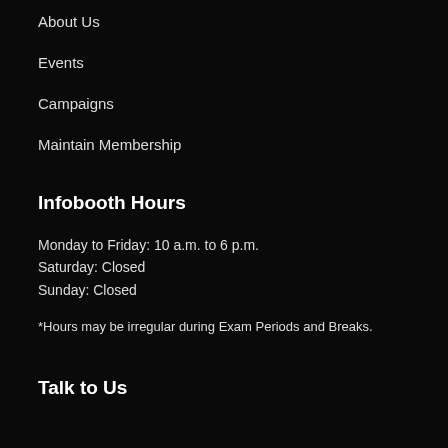About Us
Events
Campaigns
Maintain Membership
Infobooth Hours
Monday to Friday: 10 a.m. to 6 p.m.
Saturday: Closed
Sunday: Closed
*Hours may be irregular during Exam Periods and Breaks.
Talk to Us